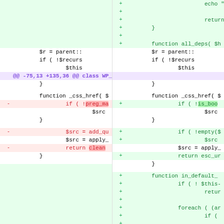[Figure (screenshot): A code diff view showing two columns (old and new) of a PHP file diff. The diff shows changes to WP_Styles class including function _css_href modifications, with removed lines highlighted in red and added lines highlighted in green. A hunk header line '@@ -75,13 +135,36 @@ class WP_Styles extends WP_Dependencies' is shown in purple.]